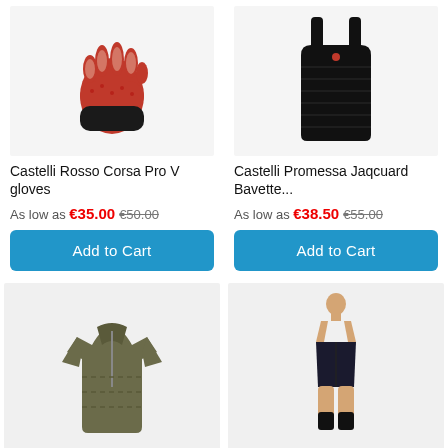[Figure (photo): Red and black Castelli Rosso Corsa Pro V cycling gloves]
[Figure (photo): Black Castelli Promessa Jacquard Bavette sleeveless top]
Castelli Rosso Corsa Pro V gloves
As low as €35.00  €50.00
Add to Cart
Castelli Promessa Jaqcuard Bavette...
As low as €38.50  €55.00
Add to Cart
[Figure (photo): Olive/khaki Castelli cycling jersey]
[Figure (photo): Man wearing black cycling bib shorts with white bibs]